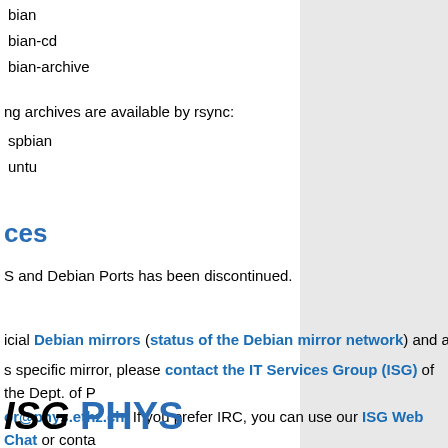bian
bian-cd
bian-archive
ng archives are available by rsync:
spbian
untu
ces
S and Debian Ports has been discontinued.
icial Debian mirrors (status of the Debian mirror network) and also known as
s specific mirror, please contact the IT Services Group (ISG) of the Dept. of P
or@phys.ethz.ch. If you prefer IRC, you can use our ISG Web Chat or conta
FTC or join #isgphys on irc.phys.ethz.ch (Readme).
[Figure (logo): ISG PHYS logo in bold italic text]